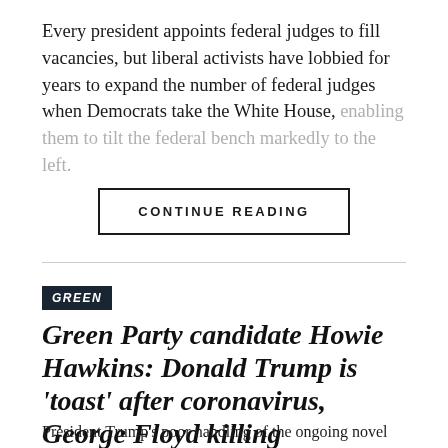Every president appoints federal judges to fill vacancies, but liberal activists have lobbied for years to expand the number of federal judges when Democrats take the White House, enabling them to tilt the federal bench markedly to the left.
CONTINUE READING
GREEN
Green Party candidate Howie Hawkins: Donald Trump is 'toast' after coronavirus, George Floyd killing
President Trump's poor handling of the ongoing novel